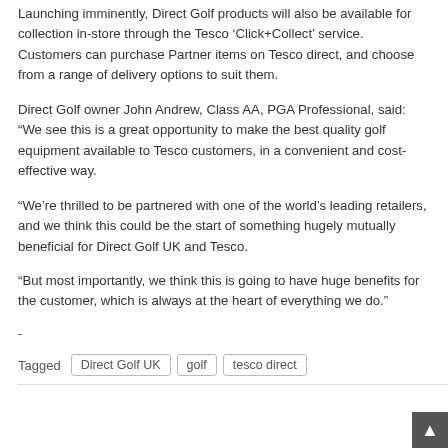Launching imminently, Direct Golf products will also be available for collection in-store through the Tesco ‘Click+Collect’ service. Customers can purchase Partner items on Tesco direct, and choose from a range of delivery options to suit them.
Direct Golf owner John Andrew, Class AA, PGA Professional, said: “We see this is a great opportunity to make the best quality golf equipment available to Tesco customers, in a convenient and cost-effective way.
“We’re thrilled to be partnered with one of the world’s leading retailers, and we think this could be the start of something hugely mutually beneficial for Direct Golf UK and Tesco.
“But most importantly, we think this is going to have huge benefits for the customer, which is always at the heart of everything we do.”
-
Tagged   Direct Golf UK   golf   tesco direct